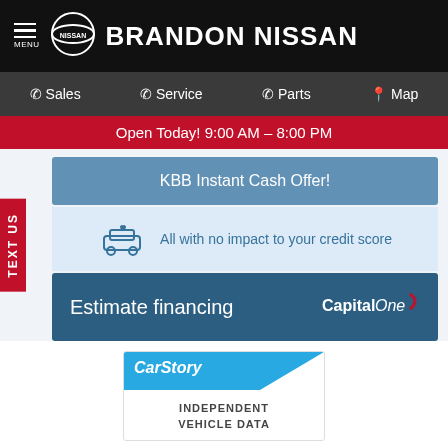BRANDON NISSAN
Sales  Service  Parts  Map
Open Today! 9:00 AM - 8:00 PM
KBB Instant Cash Offer!
All with no impact to your credit score
Estimate financing
[Figure (logo): CarStory badge with INDEPENDENT VEHICLE DATA text]
Ext. Color: SILVER SKY METALLIC   Int. Color: GRAY
Transmission:   Mileage: 41,062
Continuously Variable